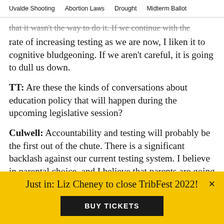Uvalde Shooting   Abortion Laws   Drought   Midterm Ballot
that it wasn't the way to do it. If we continue with the rate of increasing testing as we are now, I liken it to cognitive bludgeoning. If we aren't careful, it is going to dull us down.
TT: Are these the kinds of conversations about education policy that will happen during the upcoming legislative session?
Culwell: Accountability and testing will probably be the first out of the chute. There is a significant backlash against our current testing system. I believe in parental choice, and I believe that parents are going to make the choice to support legislators who are open to adjusting
Just in: Liz Cheney to close TribFest 2022!
BUY TICKETS